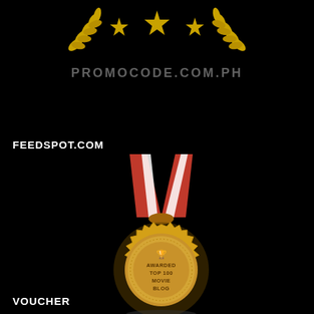[Figure (logo): Golden laurel wreath with stars and text PROMOCODE.COM.PH on black background]
FEEDSPOT.COM
[Figure (illustration): Gold medal with red and white ribbon, text reading AWARDED TOP 100 MOVIE BLOG with trophy icon, on black background]
VOUCHER